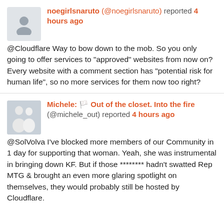noegirlsnaruto (@noegirlsnaruto) reported 4 hours ago
@Cloudflare Way to bow down to the mob. So you only going to offer services to "approved" websites from now on? Every website with a comment section has "potential risk for human life", so no more services for them now too right?
Michele: 🏳️‍🌈 Out of the closet. Into the fire (@michele_out) reported 4 hours ago
@SolVolva I've blocked more members of our Community in 1 day for supporting that woman. Yeah, she was instrumental in bringing down KF. But if those ******** hadn't swatted Rep MTG & brought an even more glaring spotlight on themselves, they would probably still be hosted by Cloudflare.